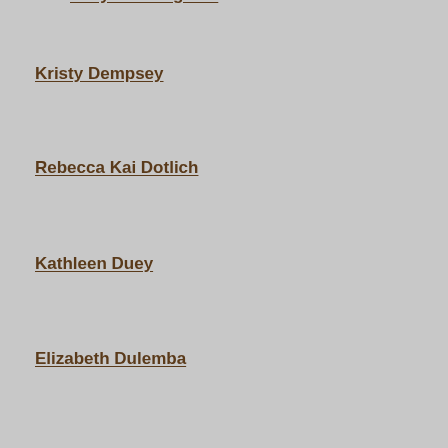Kristy Dempsey
Rebecca Kai Dotlich
Kathleen Duey
Elizabeth Dulemba
Cathy Cronin
Sarah C. Campbell
Myra - Gathering Books
Melanie Hope Greenberg
Cathy C. Hall
Gail Karwoski
Irene Latham